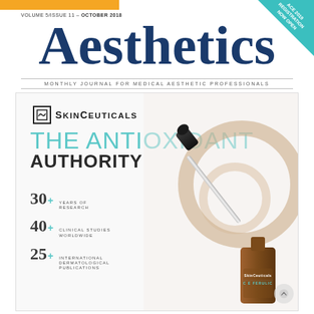VOLUME 5/ISSUE 11 – OCTOBER 2018
Aesthetics
MONTHLY JOURNAL FOR MEDICAL AESTHETIC PROFESSIONALS
[Figure (illustration): SkinCeuticals advertisement showing the brand logo, 'THE ANTIOXIDANT AUTHORITY' headline in teal and dark text, statistics (30+ Years of Research, 40+ Clinical Studies Worldwide, 25+ International Dermatological Publications), and a product image of a serum bottle with dropper and copper-colored ring props. Teal corner badge reads ACE 2019 REGISTRATION NOW OPEN.]